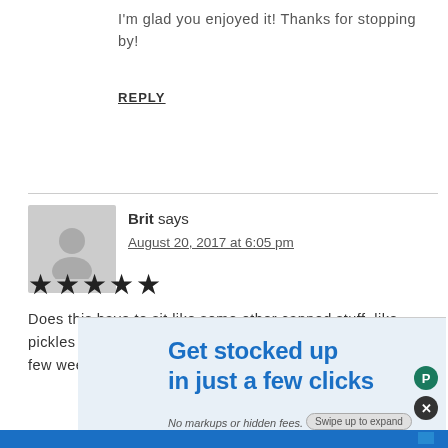I'm glad you enjoyed it! Thanks for stopping by!
REPLY
Brit says
August 20, 2017 at 6:05 pm
[Figure (other): Five filled star rating icons]
Does this have to sit like some other canned stuff, like pickles I make them every year and they have to sit for a few weeks maybe more. Was just wondering how long...
[Figure (other): Advertisement overlay: 'Get stocked up in just a few clicks. No markups or hidden fees. Swipe up to expand.' with blue background and close/P buttons]